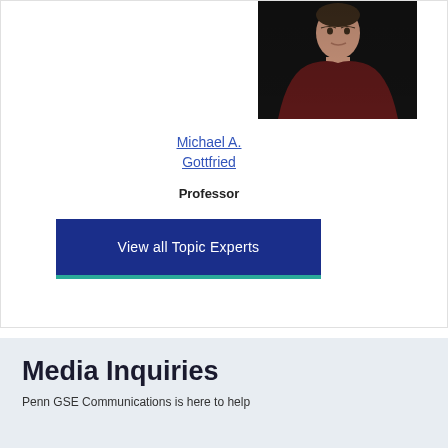[Figure (photo): Headshot photo of Michael A. Gottfried, a man in a dark maroon sweater against a black background]
Michael A. Gottfried
Professor
View all Topic Experts
Media Inquiries
Penn GSE Communications is here to help